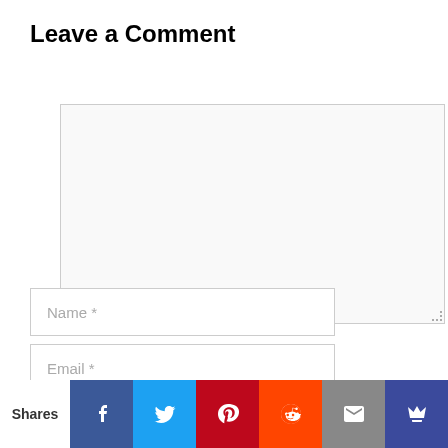Leave a Comment
[Figure (screenshot): Comment form with a large textarea for entering a comment, a Name field, an Email field, and a partial third input field.]
[Figure (infographic): Social share bar at the bottom with Shares label and buttons for Facebook, Twitter, Pinterest, Reddit, Email, and a crown/royal icon.]